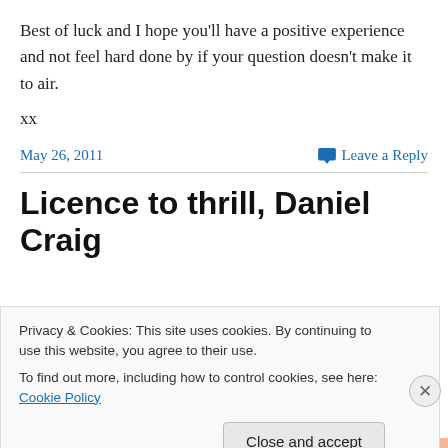Best of luck and I hope you'll have a positive experience and not feel hard done by if your question doesn't make it to air.
xx
May 26, 2011
Leave a Reply
Licence to thrill, Daniel Craig
Privacy & Cookies: This site uses cookies. By continuing to use this website, you agree to their use.
To find out more, including how to control cookies, see here: Cookie Policy
Close and accept